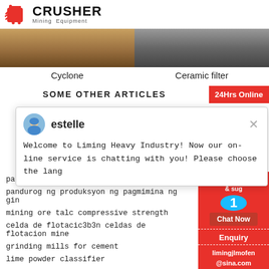[Figure (logo): Crusher Mining Equipment logo with red shopping bag icon and bold text]
[Figure (photo): Two side-by-side images: left shows sandy/dirt ground (Cyclone), right shows truck undercarriage (Ceramic filter)]
Cyclone
Ceramic filter
SOME OTHER ARTICLES
24Hrs Online
[Figure (screenshot): Chat popup with avatar, name 'estelle', and welcome message from Liming Heavy Industry]
parts manual cone crusher china
pandurog ng produksyon ng pagmimina ng gin
mining ore talc compressive strength
celda de flotacic3b3n celdas de flotacion mine
grinding mills for cement
lime powder classifier
Need
& sug
Chat Now
Enquiry
limingjlmofen@sina.com